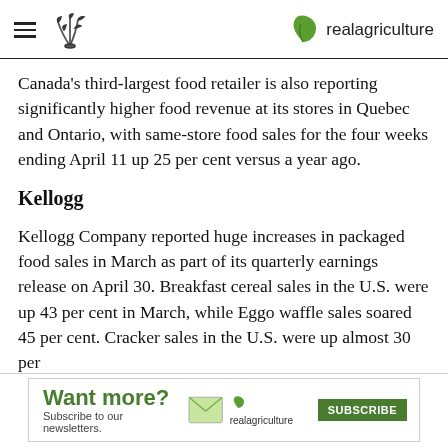realagriculture
Canada's third-largest food retailer is also reporting significantly higher food revenue at its stores in Quebec and Ontario, with same-store food sales for the four weeks ending April 11 up 25 per cent versus a year ago.
Kellogg
Kellogg Company reported huge increases in packaged food sales in March as part of its quarterly earnings release on April 30. Breakfast cereal sales in the U.S. were up 43 per cent in March, while Eggo waffle sales soared 45 per cent. Cracker sales in the U.S. were up almost 30 per cent in March…
[Figure (other): Advertisement banner: 'Want more? Subscribe to our newsletters.' with realagriculture logo and green SUBSCRIBE button]